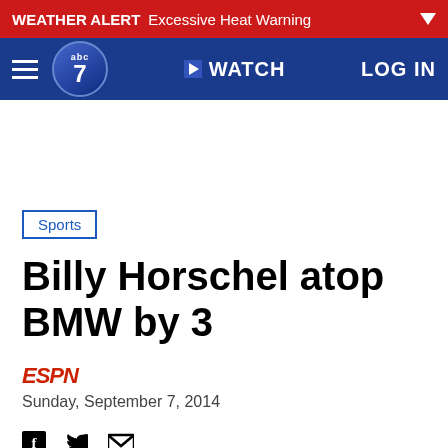WEATHER ALERT Excessive Heat Warning
abc7 WATCH LOG IN
Sports
Billy Horschel atop BMW by 3
ESPN
Sunday, September 7, 2014